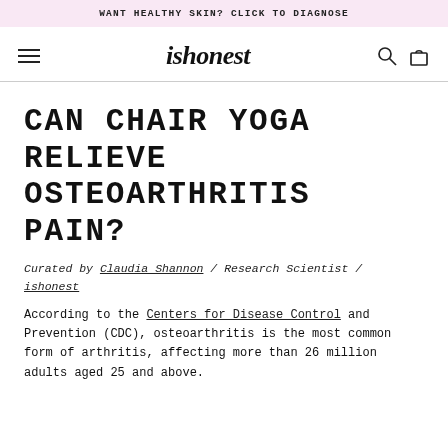WANT HEALTHY SKIN? CLICK TO DIAGNOSE
ishonest
CAN CHAIR YOGA RELIEVE OSTEOARTHRITIS PAIN?
Curated by Claudia Shannon / Research Scientist / ishonest
According to the Centers for Disease Control and Prevention (CDC), osteoarthritis is the most common form of arthritis, affecting more than 26 million adults aged 25 and above.